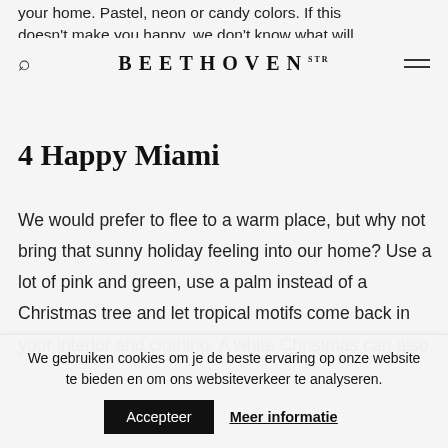your home. Pastel, neon or candy colors. If this doesn't make you happy, we don't know what will.
BEETHOVEN STR
4 Happy Miami
We would prefer to flee to a warm place, but why not bring that sunny holiday feeling into our home? Use a lot of pink and green, use a palm instead of a Christmas tree and let tropical motifs come back in your interior and clothing. A white Christmas can also
We gebruiken cookies om je de beste ervaring op onze website te bieden en om ons websiteverkeer te analyseren.
Accepteer   Meer informatie